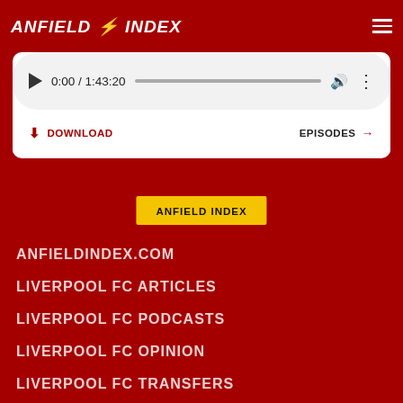ANFIELD INDEX
[Figure (screenshot): Audio player showing 0:00 / 1:43:20 with play button, progress bar, volume and more options]
DOWNLOAD
EPISODES →
ANFIELD INDEX
ANFIELDINDEX.COM
LIVERPOOL FC ARTICLES
LIVERPOOL FC PODCASTS
LIVERPOOL FC OPINION
LIVERPOOL FC TRANSFERS
LIVERPOOL FC PLAYER PROFILES